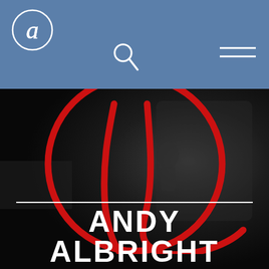Andy Albright website header with logo, search icon, and hamburger menu on blue background
[Figure (logo): White script cursive 'a' inside a circle, Andy Albright logo, in top-left of blue header bar]
[Figure (illustration): Search (magnifying glass) icon in white, centered in the blue header bar]
[Figure (illustration): Hamburger menu icon (three horizontal white lines) in upper right of header bar]
[Figure (logo): Large red cursive 'a' script logo overlaid on dark grayscale photo background in hero section]
ANDY ALBRIGHT